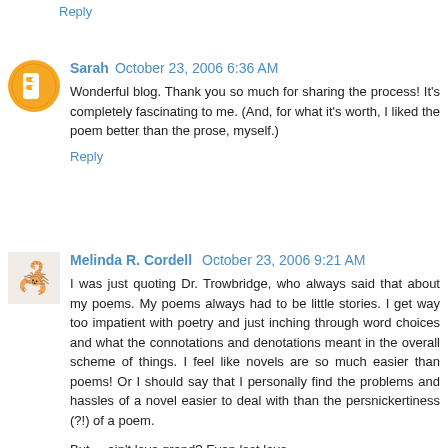Reply
Sarah  October 23, 2006 6:36 AM
Wonderful blog. Thank you so much for sharing the process! It's completely fascinating to me. (And, for what it's worth, I liked the poem better than the prose, myself.)
Reply
Melinda R. Cordell  October 23, 2006 9:21 AM
I was just quoting Dr. Trowbridge, who always said that about my poems. My poems always had to be little stories. I get way too impatient with poetry and just inching through word choices and what the connotations and denotations meant in the overall scheme of things. I feel like novels are so much easier than poems! Or I should say that I personally find the problems and hassles of a novel easier to deal with than the persnickertiness (?!) of a poem.
But ... ain't love grand? Even lost love.